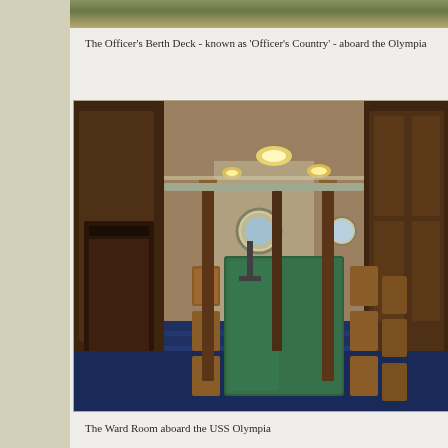[Figure (photo): Top portion of a photo showing the Officer's Berth Deck, partially cropped at top of page]
The Officer's Berth Deck - known as 'Officer's Country' - aboard the Olympia
[Figure (photo): Interior photo of the Ward Room aboard the USS Olympia, showing a long green-covered dining table with wooden chairs along both sides, a piano on the left, wooden cabinetry on the right, portholes and ceiling lights visible]
The Ward Room aboard the USS Olympia